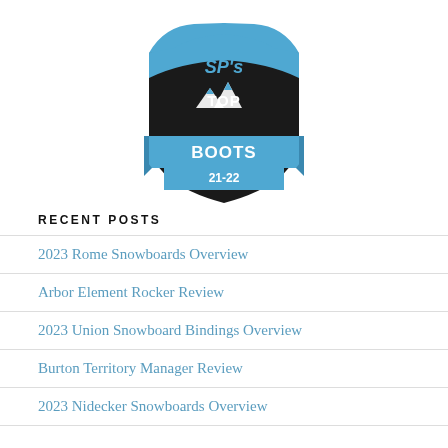[Figure (logo): SP's Top Boots 21-22 badge/shield logo with blue and black colors, mountains graphic, and blue ribbon banner]
RECENT POSTS
2023 Rome Snowboards Overview
Arbor Element Rocker Review
2023 Union Snowboard Bindings Overview
Burton Territory Manager Review
2023 Nidecker Snowboards Overview